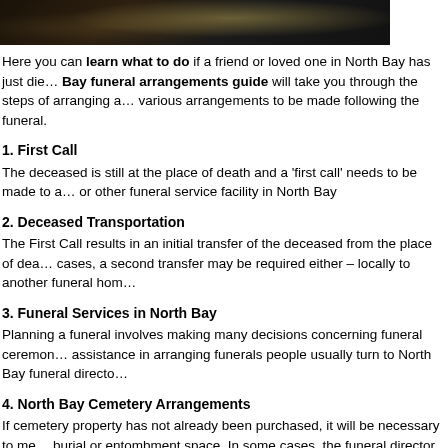[Figure (photo): Dark photograph showing a funeral scene with flowers on a casket]
Here you can learn what to do if a friend or loved one in North Bay has just die... Bay funeral arrangements guide will take you through the steps of arranging a... various arrangements to be made following the funeral.
1. First Call
The deceased is still at the place of death and a 'first call' needs to be made to a... or other funeral service facility in North Bay
2. Deceased Transportation
The First Call results in an initial transfer of the deceased from the place of dea... cases, a second transfer may be required either – locally to another funeral hom...
3. Funeral Services in North Bay
Planning a funeral involves making many decisions concerning funeral ceremon... assistance in arranging funerals people usually turn to North Bay funeral directo...
4. North Bay Cemetery Arrangements
If cemetery property has not already been purchased, it will be necessary to me... burial or entombment space. In some cases, the funeral director can make thes...